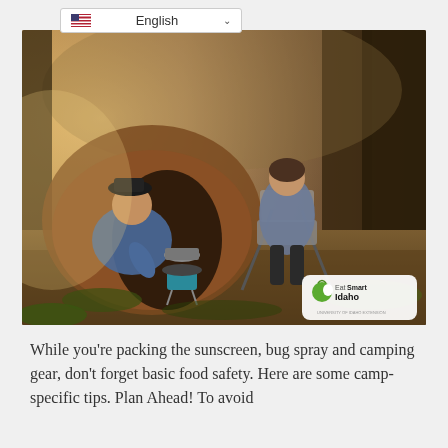[Figure (photo): Two people camping outdoors near a tent in a forested area. One person is crouching and cooking on a camp stove, the other is seated in a folding chair smiling. Eat Smart Idaho logo visible in lower right corner of photo.]
While you’re packing the sunscreen, bug spray and camping gear, don’t forget basic food safety. Here are some camp-specific tips. Plan Ahead! To avoid